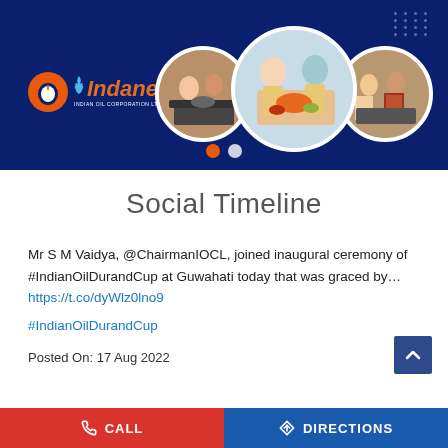[Figure (photo): Indane LPG banner with dark blue background, Indane logo on left, three circular photos of families cooking, and two carousel dots at the bottom center.]
Social Timeline
Mr S M Vaidya, @ChairmanIOCL, joined inaugural ceremony of #IndianOilDurandCup at Guwahati today that was graced by…
https://t.co/dyWlz0lno9
#IndianOilDurandCup
Posted On: 17 Aug 2022
CALL   DIRECTIONS